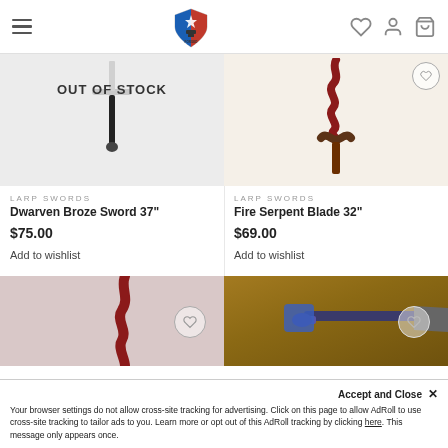[Figure (logo): Forged Foam logo with US shield and anvil in header navigation bar with hamburger menu, heart, person, and cart icons]
[Figure (photo): LARP sword product image with 'OUT OF STOCK' label overlay, showing a sword with crossguard]
LARP SWORDS
Dwarven Broze Sword 37"
$75.00
Add to wishlist
[Figure (photo): LARP sword product image showing Fire Serpent Blade with red/maroon wavy blade and brown crossguard]
LARP SWORDS
Fire Serpent Blade 32"
$69.00
Add to wishlist
[Figure (photo): Partial product image showing red wavy LARP sword handle/blade]
[Figure (photo): Partial product image showing a LARP weapon on wooden surface with blue accents]
Your browser settings do not allow cross-site tracking for advertising. Click on this page to allow AdRoll to use cross-site tracking to tailor ads to you. Learn more or opt out of this AdRoll tracking by clicking here. This message only appears once.